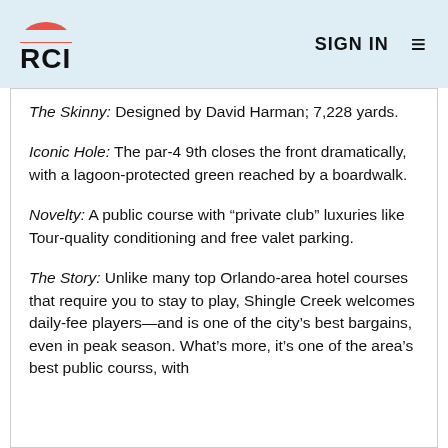RCI | SIGN IN
The Skinny: Designed by David Harman; 7,228 yards.
Iconic Hole: The par-4 9th closes the front dramatically, with a lagoon-protected green reached by a boardwalk.
Novelty: A public course with “private club” luxuries like Tour-quality conditioning and free valet parking.
The Story: Unlike many top Orlando-area hotel courses that require you to stay to play, Shingle Creek welcomes daily-fee players—and is one of the city’s best bargains, even in peak season. What’s more, it’s one of the area’s best public courss, with